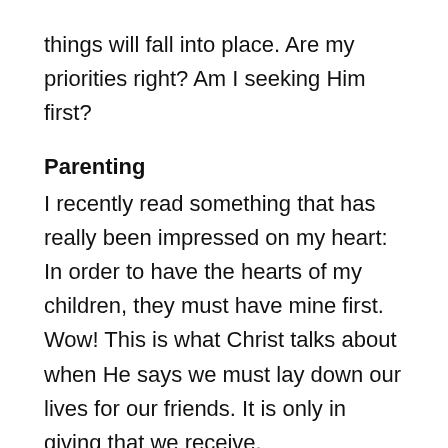things will fall into place. Are my priorities right? Am I seeking Him first?
Parenting
I recently read something that has really been impressed on my heart: In order to have the hearts of my children, they must have mine first. Wow! This is what Christ talks about when He says we must lay down our lives for our friends. It is only in giving that we receive.